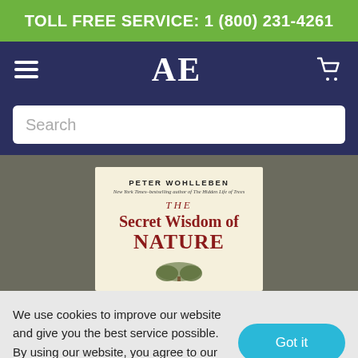TOLL FREE SERVICE: 1 (800) 231-4261
[Figure (logo): AE bookstore navigation bar with hamburger menu, AE serif logo, and shopping cart icon]
Search
[Figure (illustration): Book cover for 'The Secret Wisdom of Nature' by Peter Wohlleben, New York Times-bestselling author of The Hidden Life of Trees]
We use cookies to improve our website and give you the best service possible. By using our website, you agree to our cookie policy. Learn more here.